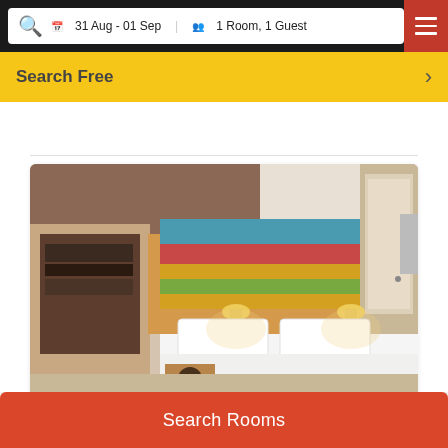31 Aug - 01 Sep  1 Room, 1 Guest
Search Free
[Figure (photo): Hotel Premium Queen Room interior photo showing double bed with white linens, colorful headboard artwork, warm wall lighting, wooden furniture, and en-suite bathroom view]
VIEW GALLERY  PHOTOS
Premium Queen Room  19 m² / Size
Search Rooms